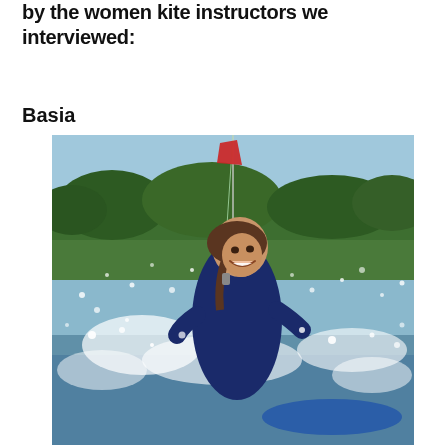by the women kite instructors we interviewed:
Basia
[Figure (photo): A smiling woman kitesurfer in a navy blue wetsuit/rashguard, with wet hair, surrounded by water spray droplets. She is kitesurfing with kite lines visible above her head, palm trees and blue sky visible in the background.]